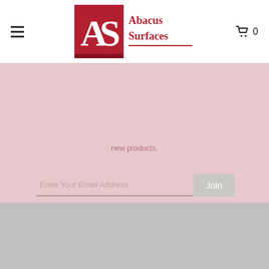[Figure (logo): Abacus Surfaces logo with red square containing white AS letters, and red text 'Abacus Surfaces' to the right]
new products.
Enter Your Email Address
Join
COMPANY
About Us
Blog
Abacus Sports